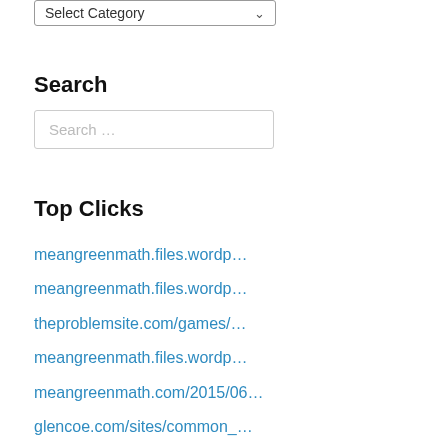[Figure (screenshot): Dropdown select input with label 'Select Category' and a down arrow]
Search
[Figure (screenshot): Search input box with placeholder text 'Search ...']
Top Clicks
meangreenmath.files.wordp...
meangreenmath.files.wordp...
theproblemsite.com/games/...
meangreenmath.files.wordp...
meangreenmath.com/2015/06...
glencoe.com/sites/common_...
17calculus.com/precalculu...